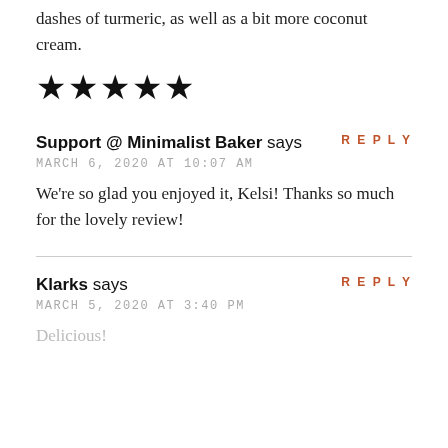dashes of turmeric, as well as a bit more coconut cream.
[Figure (other): Five filled black star icons representing a 5-star rating]
Support @ Minimalist Baker says
MARCH 6, 2020 AT 10:07 AM
We're so glad you enjoyed it, Kelsi! Thanks so much for the lovely review!
REPLY
Klarks says
MARCH 5, 2020 AT 3:40 PM
Delicious!
REPLY